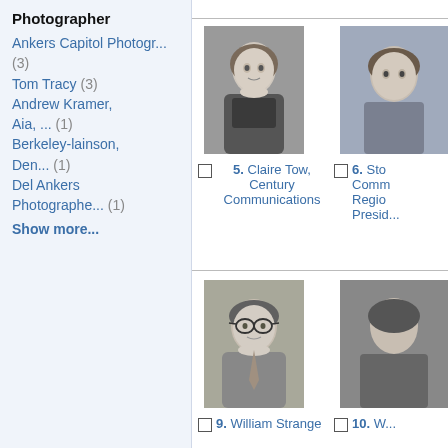Photographer
Ankers Capitol Photogr... (3)
Tom Tracy (3)
Andrew Kramer, Aia, ... (1)
Berkeley-lainson, Den... (1)
Del Ankers Photographe... (1)
Show more...
[Figure (photo): Black and white portrait photo of a woman, item 5]
5. Claire Tow, Century Communications
[Figure (photo): Color photo of a man partially visible, item 6]
6. Sto... Comm... Regio... Presid...
[Figure (photo): Black and white portrait photo of a man with glasses, item 9]
9. William Strange
10. W...